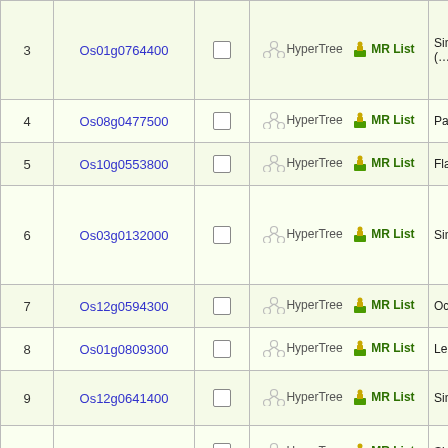| # | Gene ID |  | Links | Description |
| --- | --- | --- | --- | --- |
| 3 | Os01g0764400 |  | HyperTree  MR List | Sim hlon 5) (… |
| 4 | Os08g0477500 |  | HyperTree  MR List | Pata… |
| 5 | Os10g0553800 |  | HyperTree  MR List | Flav ase… |
| 6 | Os03g0132000 |  | HyperTree  MR List | Sim ase-… |
| 7 | Os12g0594300 |  | HyperTree  MR List | Oct oma… |
| 8 | Os01g0809300 |  | HyperTree  MR List | Leu dom… |
| 9 | Os12g0641400 |  | HyperTree  MR List | Sim… |
| 10 | Os05g0137200 |  | HyperTree  MR List | Sim B5.… |